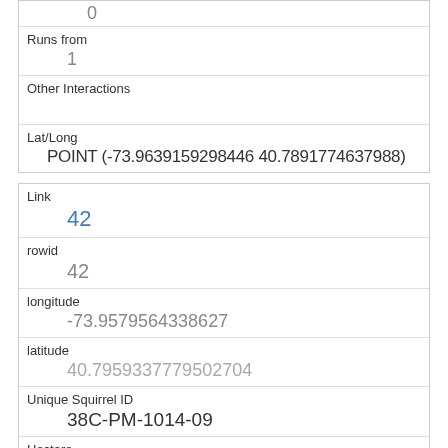| 0 (partial) |
| Runs from | 1 |
| Other Interactions |  |
| Lat/Long | POINT (-73.9639159298446 40.7891774637988) |
| Link | 42 |
| rowid | 42 |
| longitude | -73.9579564338627 |
| latitude | 40.7959337779502704 |
| Unique Squirrel ID | 38C-PM-1014-09 |
| Hectare | 38C |
| Shift |  |